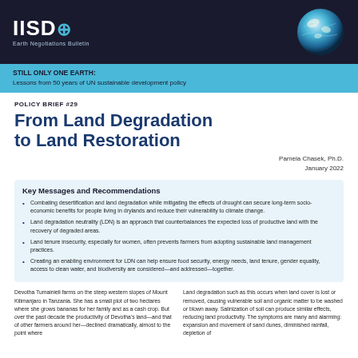IISD Earth Negotiations Bulletin
STILL ONLY ONE EARTH: Lessons from 50 years of UN sustainable development policy
POLICY BRIEF #29
From Land Degradation to Land Restoration
Pamela Chasek, Ph.D.
January 2022
Key Messages and Recommendations
Combating desertification and land degradation while mitigating the effects of drought can secure long-term socio-economic benefits for people living in drylands and reduce their vulnerability to climate change.
Land degradation neutrality (LDN) is an approach that counterbalances the expected loss of productive land with the recovery of degraded areas.
Land tenure insecurity, especially for women, often prevents farmers from adopting sustainable land management practices.
Creating an enabling environment for LDN can help ensure food security, energy needs, land tenure, gender equality, access to clean water, and biodiversity are considered—and addressed—together.
Devotha Tumainieli farms on the steep western slopes of Mount Kilimanjaro in Tanzania. She has a small plot of two hectares where she grows bananas for her family and as a cash crop. But over the past decade the productivity of Devotha's land—and that of other farmers around her—declined dramatically, almost to the point where
Land degradation such as this occurs when land cover is lost or removed, causing vulnerable soil and organic matter to be washed or blown away. Salinization of soil can produce similar effects, reducing land productivity. The symptoms are many and alarming: expansion and movement of sand dunes, diminished rainfall, depletion of